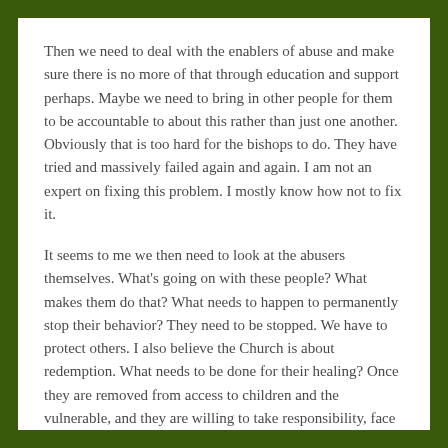Then we need to deal with the enablers of abuse and make sure there is no more of that through education and support perhaps. Maybe we need to bring in other people for them to be accountable to about this rather than just one another. Obviously that is too hard for the bishops to do. They have tried and massively failed again and again. I am not an expert on fixing this problem. I mostly know how not to fix it.
It seems to me we then need to look at the abusers themselves. What's going on with these people? What makes them do that? What needs to happen to permanently stop their behavior? They need to be stopped. We have to protect others. I also believe the Church is about redemption. What needs to be done for their healing? Once they are removed from access to children and the vulnerable, and they are willing to take responsibility, face just consequences, pursue treatment they should be helped to redeem their lives somehow though they should never be around children again if they have abused a child. If they are